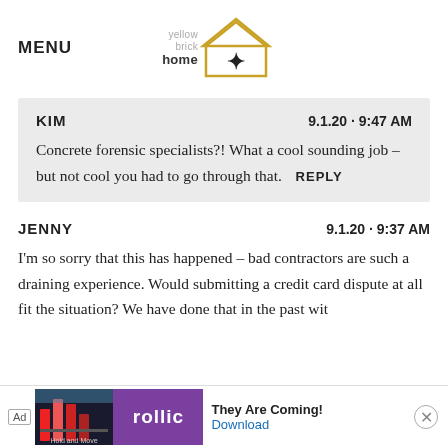MENU | yellow brick home (logo)
KIM   9.1.20 · 9:47 AM
Concrete forensic specialists?! What a cool sounding job – but not cool you had to go through that.  REPLY
JENNY   9.1.20 · 9:37 AM
I'm so sorry that this has happened – bad contractors are such a draining experience. Would submitting a credit card dispute at all fit the situation? We have done that in the past with...
[Figure (screenshot): Ad banner: rollic game app ad with 'They Are Coming!' text and Download link, with close button]